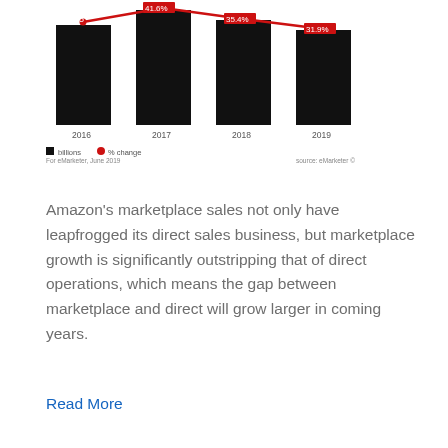[Figure (bar-chart): Bar chart with red line showing % change, years 2016-2019, values include $91.55B and percentage changes 41.6%, 35.4%, 31.9%]
Amazon's marketplace sales not only have leapfrogged its direct sales business, but marketplace growth is significantly outstripping that of direct operations, which means the gap between marketplace and direct will grow larger in coming years.
Read More
Top Advertising Channels [CHART]
By David Erickson | August 16, 2018